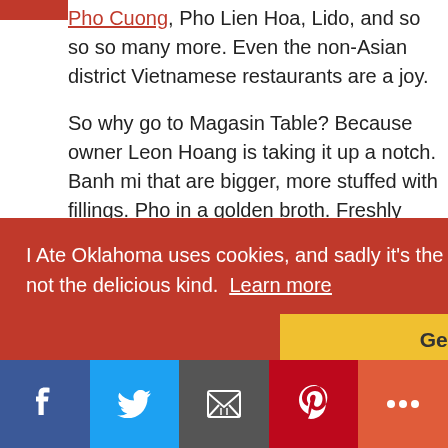Pho Cuong, Pho Lien Hoa, Lido, and so so so many more. Even the non-Asian district Vietnamese restaurants are a joy.
So why go to Magasin Table? Because owner Leon Hoang is taking it up a notch. Banh mi that are bigger, more stuffed with fillings. Pho in a golden broth. Freshly made dumplings and sauces and just about everythings.
No one is saying you should stop going to your
I Ate Oklahoma uses cookies, and sadly it's the digital kind not the delicious kind.  Learn more
[Figure (screenshot): Social share bar with Facebook, Twitter, Email, Pinterest, and More buttons]